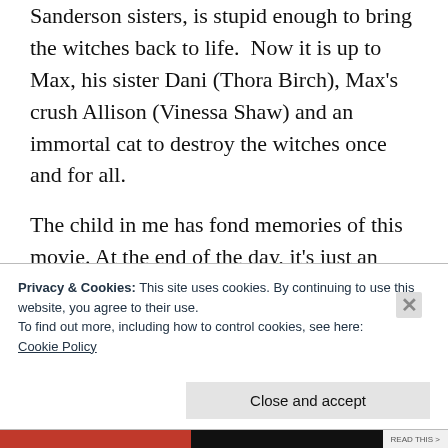Sanderson sisters, is stupid enough to bring the witches back to life.  Now it is up to Max, his sister Dani (Thora Birch), Max's crush Allison (Vinessa Shaw) and an immortal cat to destroy the witches once and for all.
The child in me has fond memories of this movie. At the end of the day, it's just an innocuous Disney movie (aren't they all?) from the early 90's that is fun to watch. I love the balance of the comedic and villainous elements
Privacy & Cookies: This site uses cookies. By continuing to use this website, you agree to their use.
To find out more, including how to control cookies, see here:
Cookie Policy
Close and accept